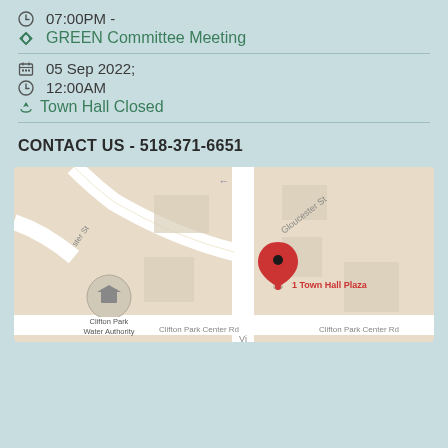07:00PM -
GREEN Committee Meeting
05 Sep 2022;
12:00AM
Town Hall Closed
CONTACT US - 518-371-6651
[Figure (map): Google Maps showing location of 1 Town Hall Plaza, Clifton Park, with Gloucester St, Clifton Park Center Rd, and Clifton Park Water Authority visible. Red pin marker labeled '1 Town Hall Plaza'.]